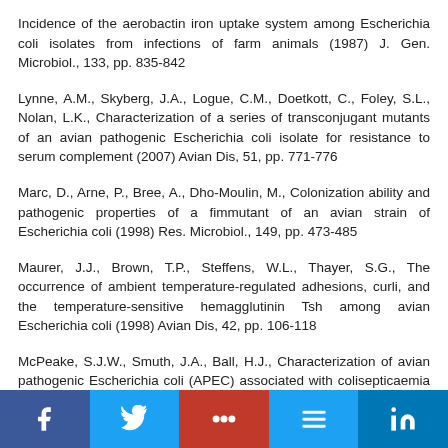Incidence of the aerobactin iron uptake system among Escherichia coli isolates from infections of farm animals (1987) J. Gen. Microbiol., 133, pp. 835-842
Lynne, A.M., Skyberg, J.A., Logue, C.M., Doetkott, C., Foley, S.L., Nolan, L.K., Characterization of a series of transconjugant mutants of an avian pathogenic Escherichia coli isolate for resistance to serum complement (2007) Avian Dis, 51, pp. 771-776
Marc, D., Arne, P., Bree, A., Dho-Moulin, M., Colonization ability and pathogenic properties of a fimmutant of an avian strain of Escherichia coli (1998) Res. Microbiol., 149, pp. 473-485
Maurer, J.J., Brown, T.P., Steffens, W.L., Thayer, S.G., The occurrence of ambient temperature-regulated adhesions, curli, and the temperature-sensitive hemagglutinin Tsh among avian Escherichia coli (1998) Avian Dis, 42, pp. 106-118
McPeake, S.J.W., Smuth, J.A., Ball, H.J., Characterization of avian pathogenic Escherichia coli (APEC) associated with colisepticaemia compared to faecal isolates from healthy birds (2005) Vet. Microbiol., 110, pp. 245-253